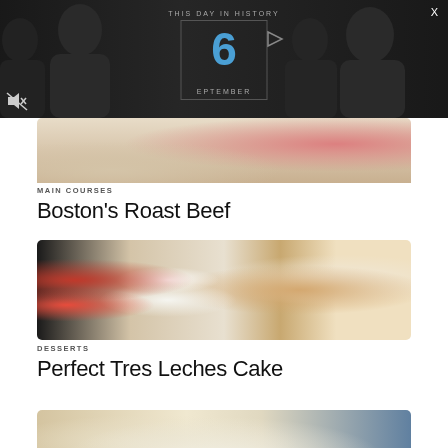[Figure (screenshot): Dark banner overlay showing 'This Day in History' with the number 6 in blue and 'EPTEMBER' below, mute icon bottom left, X close button top right]
[Figure (photo): Partial photo of Boston's Roast Beef dish]
MAIN COURSES
Boston's Roast Beef
[Figure (photo): Photo of Perfect Tres Leches Cake with strawberries, a coffee cup, and a slice of cake with white frosting]
DESSERTS
Perfect Tres Leches Cake
[Figure (photo): Partial photo of a dish with white cream sauce, possibly a gravy-covered entree on a blue plate]